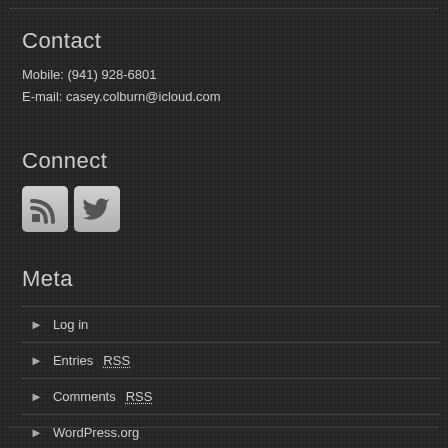Contact
Mobile: (941) 928-6801
E-mail: casey.colburn@icloud.com
Connect
[Figure (illustration): RSS feed icon and Twitter bird icon as small grey square buttons]
Meta
Log in
Entries RSS
Comments RSS
WordPress.org